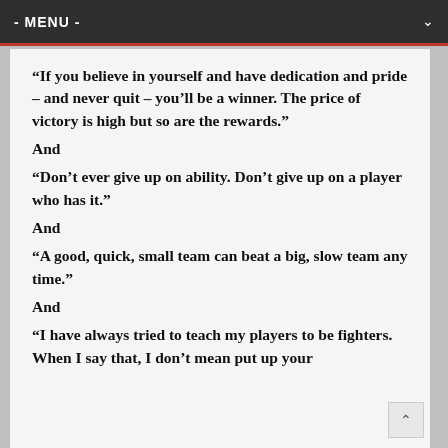- MENU -
“If you believe in yourself and have dedication and pride – and never quit – you’ll be a winner. The price of victory is high but so are the rewards.”
And
“Don’t ever give up on ability. Don’t give up on a player who has it.”
And
“A good, quick, small team can beat a big, slow team any time.”
And
“I have always tried to teach my players to be fighters. When I say that, I don’t mean put up your